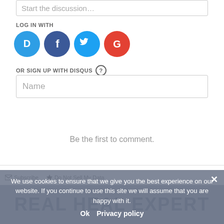Start the discussion…
LOG IN WITH
[Figure (screenshot): Social login icons: Disqus (blue D), Facebook (dark blue f), Twitter (light blue bird), Google (red G)]
OR SIGN UP WITH DISQUS ?
Name
Be the first to comment.
Subscribe  Do Not Sell My Data
DISQUS
We use cookies to ensure that we give you the best experience on our website. If you continue to use this site we will assume that you are happy with it.
Ok  Privacy policy